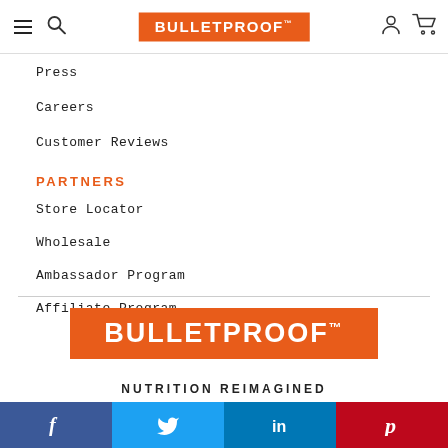Bulletproof header navigation with hamburger menu, search icon, logo, user icon, and cart icon
Press
Careers
Customer Reviews
PARTNERS
Store Locator
Wholesale
Ambassador Program
Affiliate Program
[Figure (logo): Bulletproof logo - white text on orange background, large size]
NUTRITION REIMAGINED
We're reinventing what it means to fuel your
Social sharing bar: Facebook, Twitter, LinkedIn, Pinterest